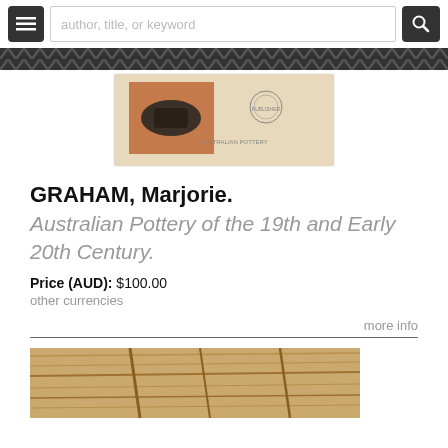author, title, or keyword
[Figure (photo): Book cover image for Australian Pottery of the 19th and Early 20th Century, tan/cream cover with pottery photograph]
GRAHAM, Marjorie.
Australian Pottery of the 19th and Early 20th Century.
Price (AUD): $100.00
other currencies
more info
[Figure (photo): Partial view of another book, tan/wood-toned cover, bottom of page]